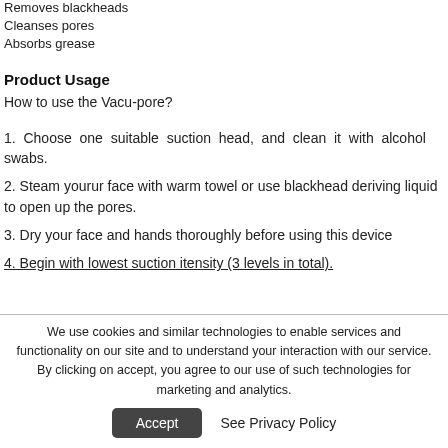Removes blackheads
Cleanses pores
Absorbs grease
Product Usage
How to use the Vacu-pore?
1. Choose one suitable suction head, and clean it with alcohol swabs.
2. Steam yourur face with warm towel or use blackhead deriving liquid to open up the pores.
3. Dry your face and hands thoroughly before using this device
4. Begin with lowest suction itensity (3 levels in total).
We use cookies and similar technologies to enable services and functionality on our site and to understand your interaction with our service. By clicking on accept, you agree to our use of such technologies for marketing and analytics.
Accept
See Privacy Policy